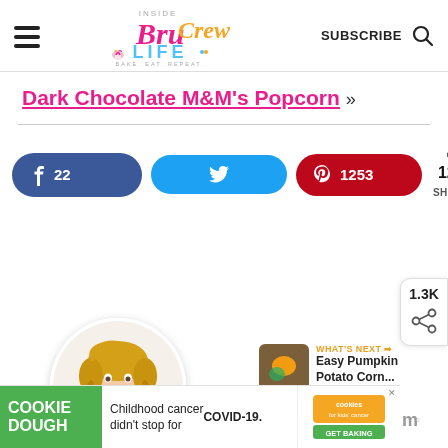Inside BruCrew Life — BAKE. EAT. REPEAT. SUBSCRIBE
Dark Chocolate M&M's Popcorn »
[Figure (infographic): Social share buttons: Facebook (22 shares), Twitter, Pinterest (1253 shares), share count 1275 SHARES with heart badge]
[Figure (photo): Circular author photo of a woman with curly blonde hair wearing a dark floral top/apron]
[Figure (other): Side floating share widget showing 1.3K and a share icon]
[Figure (other): What's Next panel with food photo thumbnail and text: Easy Pumpkin Potato Corn...]
[Figure (other): Cookie Dough / Cookies for Kids' Cancer ad banner: Childhood cancer didn't stop for COVID-19. GET BAKING]